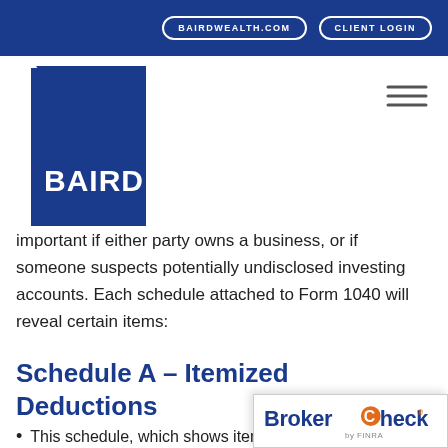BAIRDWEALTH.COM   CLIENT LOGIN
[Figure (logo): Baird logo — dark blue diamond/parallelogram shape with white BAIRD text]
important if either party owns a business, or if someone suspects potentially undisclosed investing accounts. Each schedule attached to Form 1040 will reveal certain items:
Schedule A – Itemized Deductions
This schedule, which shows itemized deductions…
[Figure (logo): BrokerCheck by FINRA badge in bottom-right corner]